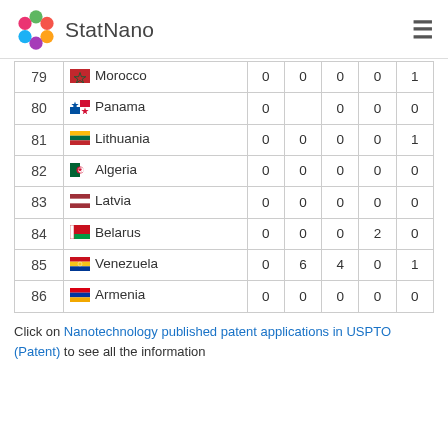StatNano
| # | Country | Col1 | Col2 | Col3 | Col4 | Col5 |
| --- | --- | --- | --- | --- | --- | --- |
| 79 | Morocco | 0 | 0 | 0 | 0 | 1 |
| 80 | Panama | 0 |  | 0 | 0 | 0 |
| 81 | Lithuania | 0 | 0 | 0 | 0 | 1 |
| 82 | Algeria | 0 | 0 | 0 | 0 | 0 |
| 83 | Latvia | 0 | 0 | 0 | 0 | 0 |
| 84 | Belarus | 0 | 0 | 0 | 2 | 0 |
| 85 | Venezuela | 0 | 6 | 4 | 0 | 1 |
| 86 | Armenia | 0 | 0 | 0 | 0 | 0 |
Click on Nanotechnology published patent applications in USPTO (Patent) to see all the information